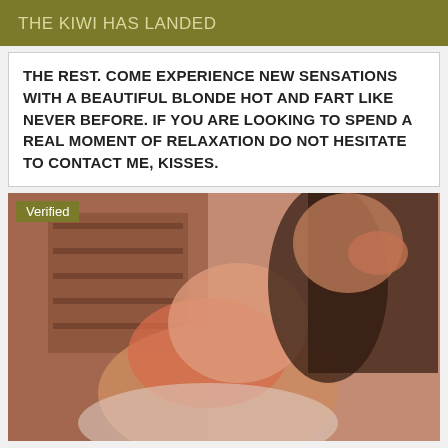THE KIWI HAS LANDED
THE REST. COME EXPERIENCE NEW SENSATIONS WITH A BEAUTIFUL BLONDE HOT AND FART LIKE NEVER BEFORE. IF YOU ARE LOOKING TO SPEND A REAL MOMENT OF RELAXATION DO NOT HESITATE TO CONTACT ME, KISSES.
[Figure (photo): Photo of a young woman indoors with a bookshelf in the background, wearing pink/orange clothing, with a 'Verified' badge overlay]
Escort